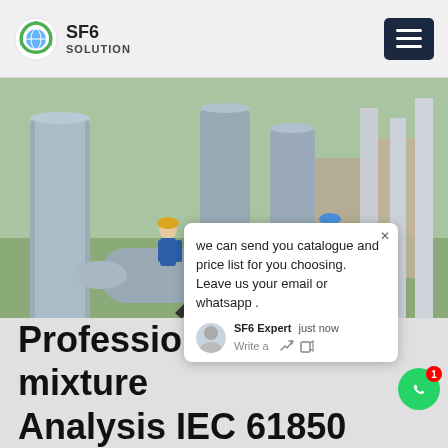[Figure (logo): SF6 Solution logo with green circular recycling-style icon, text SF6 SOLUTION]
[Figure (photo): Workers in blue coveralls and hard hats working on SF6 gas-insulated switchgear equipment at an electrical substation outdoor installation]
we can send you catalogue and price list for you choosing. Leave us your email or whatsapp .
SF6 Expert   just now
Write a
Professional sf6 mixture Analysis IEC 61850